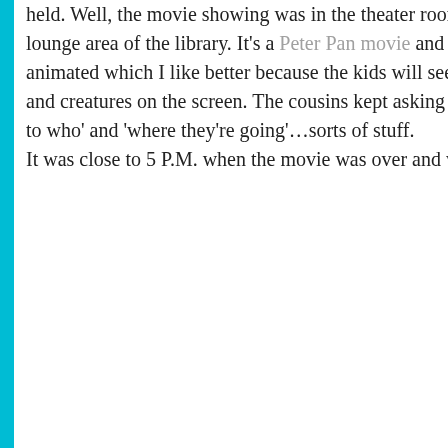held.  Well, the movie showing was in the theater room across the lounge area of the library.  It's a Peter Pan movie and it wasn't animated which I like better because the kids will see real actors and creatures on the screen.  The cousins kept asking 'what happen to who' and 'where they're going'…sorts of stuff.

It was close to 5 P.M. when the movie was over and we
[Figure (logo): YouTube icon - red rounded square with white play triangle]
[Figure (logo): Email icon - dark blue rounded square with white envelope/letter symbol]
Mom's Corner
Mommy's Fave Love Songs
Our Posts
Select Month
Mom